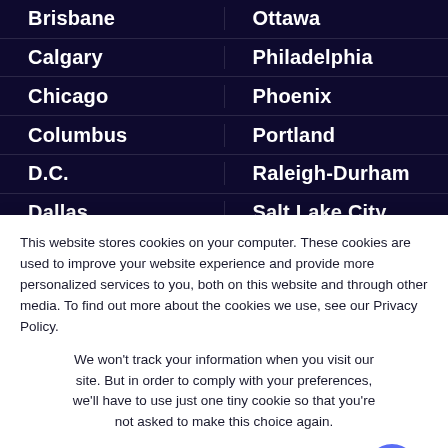Brisbane | Ottawa
Calgary | Philadelphia
Chicago | Phoenix
Columbus | Portland
D.C. | Raleigh-Durham
Dallas | Salt Lake City
Denver | San Diego
This website stores cookies on your computer. These cookies are used to improve your website experience and provide more personalized services to you, both on this website and through other media. To find out more about the cookies we use, see our Privacy Policy.
We won't track your information when you visit our site. But in order to comply with your preferences, we'll have to use just one tiny cookie so that you're not asked to make this choice again.